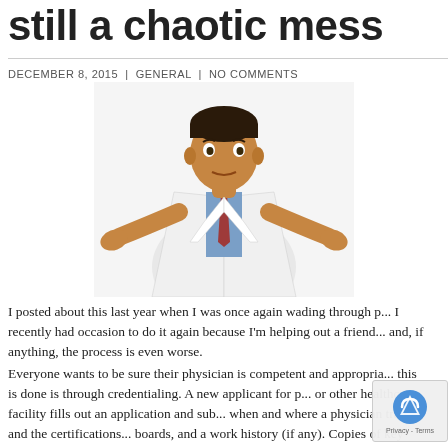still a chaotic mess
DECEMBER 8, 2015  |  GENERAL  |  NO COMMENTS
[Figure (photo): A doctor in a white lab coat with a tie, shrugging with both hands outstretched, making a confused or helpless expression]
I posted about this last year when I was once again wading through p... I recently had occasion to do it again because I'm helping out a friend... and, if anything, the process is even worse.
Everyone wants to be sure their physician is competent and appropria... this is done is through credentialing. A new applicant for p... or other healthcare facility fills out an application and sub... when and where a physician trained and the certifications... boards, and a work history (if any). Copies of key documents... medi...